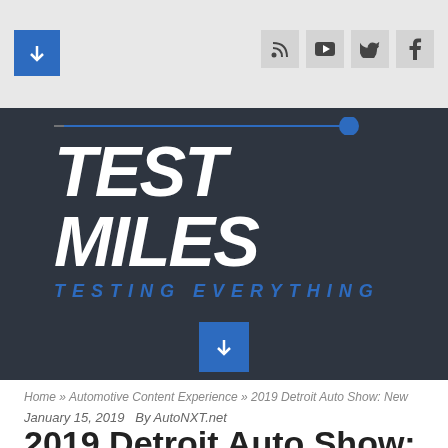Test Miles — Testing Everything [header bar with logo and social icons]
[Figure (logo): Test Miles logo on dark background with tagline TESTING EVERYTHING and a blue down-arrow button]
Home » Automotive Content Experience » 2019 Detroit Auto Show: New Trucks and SUVs
January 15, 2019   By AutoNXT.net
2019 Detroit Auto Show: